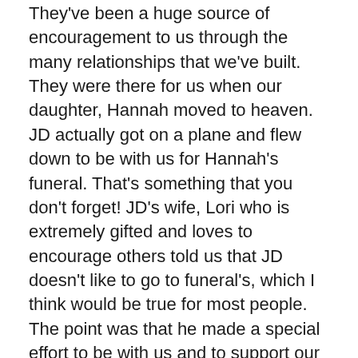They've been a huge source of encouragement to us through the many relationships that we've built. They were there for us when our daughter, Hannah moved to heaven. JD actually got on a plane and flew down to be with us for Hannah's funeral. That's something that you don't forget! JD's wife, Lori who is extremely gifted and loves to encourage others told us that JD doesn't like to go to funeral's, which I think would be true for most people. The point was that he made a special effort to be with us and to support our family during a time of tremendous need.
One of the many things Dawn and I have appreciated about our involvement with Excel is the quality of people that are involved. I don't just mean in regards to their gifting, but also in their character. I've found that the pastors involved in this group are some of the most vulnerable and authentic people that I've ever been